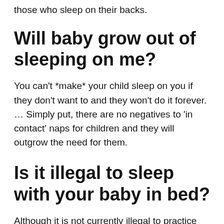those who sleep on their backs.
Will baby grow out of sleeping on me?
You can't *make* your child sleep on you if they don't want to and they won't do it forever. … Simply put, there are no negatives to 'in contact' naps for children and they will outgrow the need for them.
Is it illegal to sleep with your baby in bed?
Although it is not currently illegal to practice bed-sharing, the aim of these laws and current litigation is to prevent parents from ever starting. The goal that prosecutors